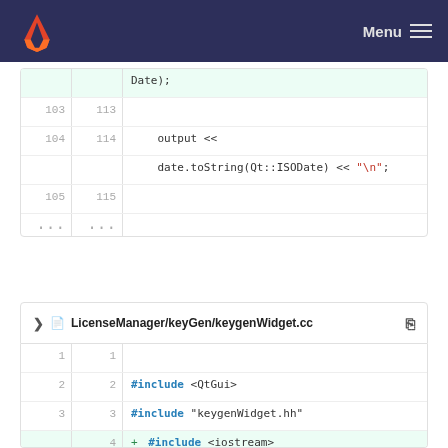GitLab Menu
[Figure (screenshot): Code diff view showing two code blocks. Top block shows lines 103-105 / 113-115 with output << and date.toString(Qt::ISODate) << "\n"; Bottom block is for LicenseManager/keyGen/keygenWidget.cc with lines 1-9 showing #include statements and class definitions with added/removed diff lines.]